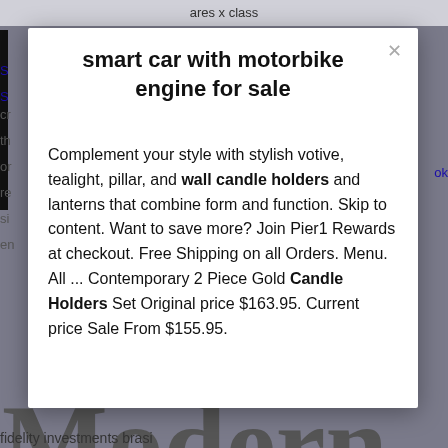ares x class
smart car with motorbike engine for sale
Complement your style with stylish votive, tealight, pillar, and wall candle holders and lanterns that combine form and function. Skip to content. Want to save more? Join Pier1 Rewards at checkout. Free Shipping on all Orders. Menu. All ... Contemporary 2 Piece Gold Candle Holders Set Original price $163.95. Current price Sale From $155.95.
Modern
fidelity investments brasi